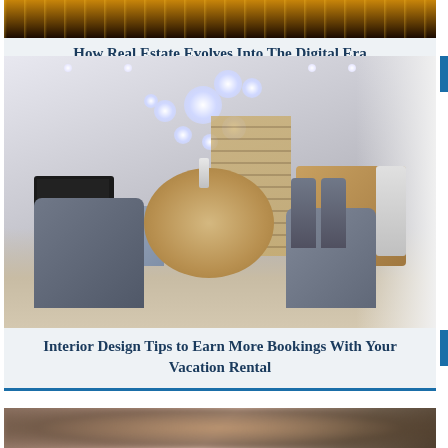[Figure (photo): Partial view of a nighttime road or highway scene with orange/yellow lights, serving as the image for the first article card]
How Real Estate Evolves Into The Digital Era
[Figure (photo): Modern open-plan interior with a round wood dining table, grey chairs, sofa, TV, kitchen island, staircase, and a large globe chandelier overhead]
Interior Design Tips to Earn More Bookings With Your Vacation Rental
[Figure (photo): Partial/blurred photo of a rustic or wooden structure, forming the top portion of the third article card]